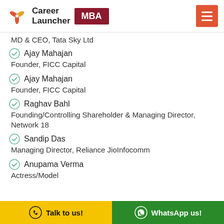[Figure (logo): Career Launcher MBA logo with pinwheel icon and MBA badge, plus hamburger menu button]
MD & CEO, Tata Sky Ltd
Ajay Mahajan
Founder, FICC Capital
Ajay Mahajan
Founder, FICC Capital
Raghav Bahl
Founding/Controlling Shareholder & Managing Director, Network 18
Sandip Das
Managing Director, Reliance JioInfocomm
Anupama Verma
Actress/Model
Talk to us!   WhatsApp us!